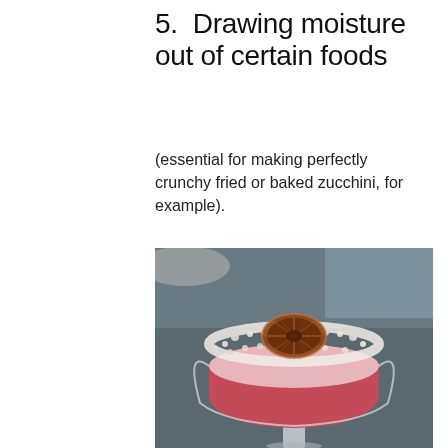5.  Drawing moisture out of certain foods
(essential for making perfectly crunchy fried or baked zucchini, for example).
[Figure (photo): A pink cocktail in a sugar-rimmed coupe glass topped with a dried blood orange slice, sitting on a dark surface with blurred background]